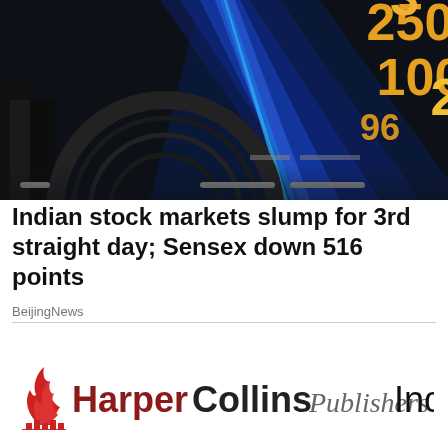[Figure (photo): Stock market ticker board showing numbers 250, 100, 96, 2 in yellow/gold on dark background, with a circular structure and city buildings in foreground]
Indian stock markets slump for 3rd straight day; Sensex down 516 points
BeijingNews
[Figure (logo): HarperCollins Publishers India logo with flame icon in red, HarperCollins in dark red/black, Publishers in italic gray, India in black]